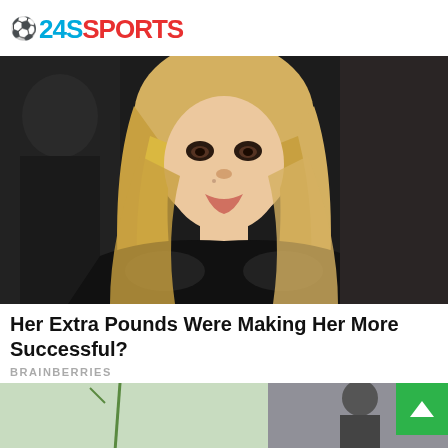⚽24SSPORTS
[Figure (photo): A blonde woman with long wavy hair wearing a black fur coat, photographed at an event.]
Her Extra Pounds Were Making Her More Successful?
BRAINBERRIES
[Figure (photo): Partial bottom strip showing two celebrity photos side by side.]